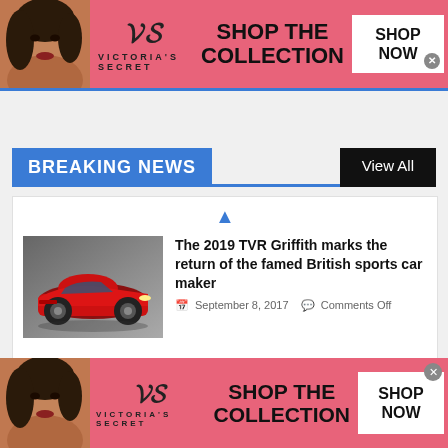[Figure (advertisement): Victoria's Secret banner ad with model, VS logo, 'SHOP THE COLLECTION' text, and 'SHOP NOW' button on pink background (top)]
BREAKING NEWS
View All
[Figure (photo): Red TVR Griffith sports car on grey background]
The 2019 TVR Griffith marks the return of the famed British sports car maker
September 8, 2017   Comments Off
BREAKING: The all-new eighth-
[Figure (advertisement): Victoria's Secret banner ad with model, VS logo, 'SHOP THE COLLECTION' text, and 'SHOP NOW' button on pink background (bottom)]